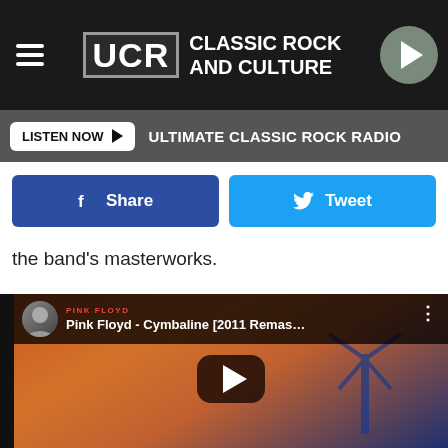UCR CLASSIC ROCK AND CULTURE
LISTEN NOW ▶  ULTIMATE CLASSIC ROCK RADIO
Share   Tweet
the band's masterworks.
[Figure (screenshot): YouTube video embed showing Pink Floyd - Cymbaline [2011 Remaster...] with orange and blue album art background and a large play button in the center. Channel label reads PINK FLOYD in red.]